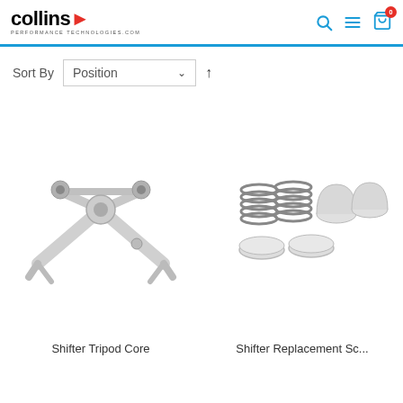collins PERFORMANCE TECHNOLOGIES.COM
Sort By Position
[Figure (photo): Shifter Tripod Core product image — a white/silver metal tripod assembly with mounting hardware]
Shifter Tripod Core
[Figure (photo): Shifter Replacement Sc... product image — showing grey springs/washers and silver rounded caps/bolts]
Shifter Replacement Sc...